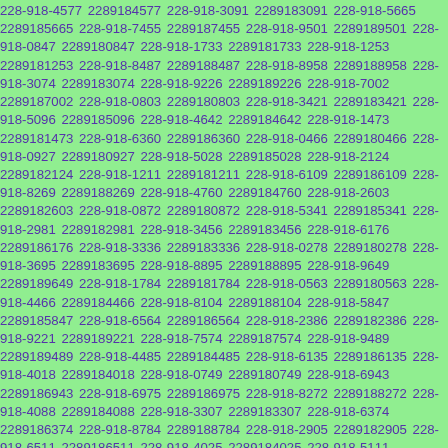228-918-4577 2289184577 228-918-3091 2289183091 228-918-5665 2289185665 228-918-7455 2289187455 228-918-9501 2289189501 228-918-0847 2289180847 228-918-1733 2289181733 228-918-1253 2289181253 228-918-8487 2289188487 228-918-8958 2289188958 228-918-3074 2289183074 228-918-9226 2289189226 228-918-7002 2289187002 228-918-0803 2289180803 228-918-3421 2289183421 228-918-5096 2289185096 228-918-4642 2289184642 228-918-1473 2289181473 228-918-6360 2289186360 228-918-0466 2289180466 228-918-0927 2289180927 228-918-5028 2289185028 228-918-2124 2289182124 228-918-1211 2289181211 228-918-6109 2289186109 228-918-8269 2289188269 228-918-4760 2289184760 228-918-2603 2289182603 228-918-0872 2289180872 228-918-5341 2289185341 228-918-2981 2289182981 228-918-3456 2289183456 228-918-6176 2289186176 228-918-3336 2289183336 228-918-0278 2289180278 228-918-3695 2289183695 228-918-8895 2289188895 228-918-9649 2289189649 228-918-1784 2289181784 228-918-0563 2289180563 228-918-4466 2289184466 228-918-8104 2289188104 228-918-5847 2289185847 228-918-6564 2289186564 228-918-2386 2289182386 228-918-9221 2289189221 228-918-7574 2289187574 228-918-9489 2289189489 228-918-4485 2289184485 228-918-6135 2289186135 228-918-4018 2289184018 228-918-0749 2289180749 228-918-6943 2289186943 228-918-6975 2289186975 228-918-8272 2289188272 228-918-4088 2289184088 228-918-3307 2289183307 228-918-6374 2289186374 228-918-8784 2289188784 228-918-2905 2289182905 228-918-6511 2289186511 228-918-4025 2289184025 228-918-5111